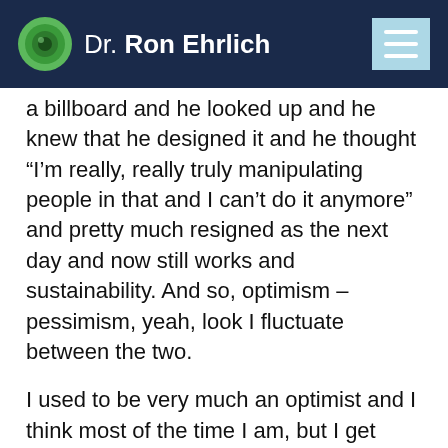Dr. Ron Ehrlich
a billboard and he looked up and he knew that he designed it and he thought “I’m really, really truly manipulating people in that and I can’t do it anymore” and pretty much resigned as the next day and now still works and sustainability. And so, optimism – pessimism, yeah, look I fluctuate between the two.
I used to be very much an optimist and I think most of the time I am, but I get frustrated. I’m not pessimistic, I just get frustrated and because for me I see it as common sense and I see human right from